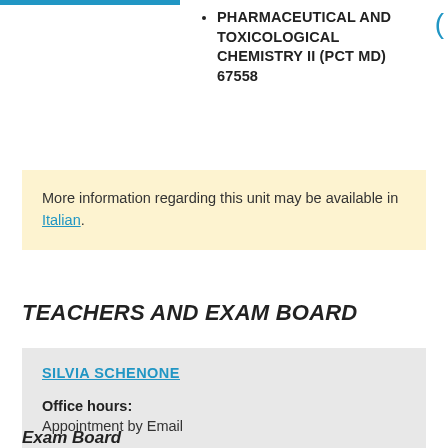PHARMACEUTICAL AND TOXICOLOGICAL CHEMISTRY II (PCT MD) 67558
More information regarding this unit may be available in Italian.
TEACHERS AND EXAM BOARD
SILVIA SCHENONE
Office hours: Appointment by Email
Exam Board